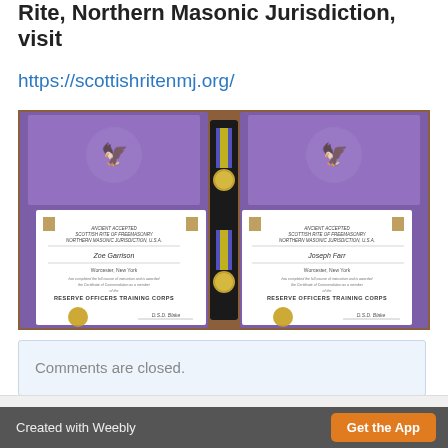Rite, Northern Masonic Jurisdiction, visit
https://scottishritenmj.org/
[Figure (photo): Two Scottish Rite certificates in purple folders displayed open on a wooden table, with a black medal case containing two medals with purple and yellow ribbons placed between them. The certificates appear to be from the Ancient Accepted Scottish Rite of Freemasonry, Northern Masonic Jurisdiction, U.S.A., awarded to Zoe Garrison and Joseph Farr for Reserve Officers Training Corps.]
Comments are closed.
Version:  Mobile | Web
Created with Weebly